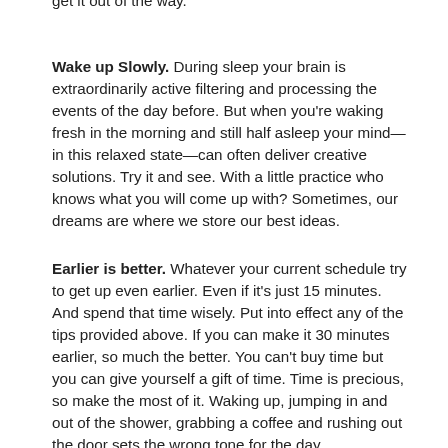get it out of the way.
Wake up Slowly. During sleep your brain is extraordinarily active filtering and processing the events of the day before. But when you're waking fresh in the morning and still half asleep your mind—in this relaxed state—can often deliver creative solutions. Try it and see. With a little practice who knows what you will come up with? Sometimes, our dreams are where we store our best ideas.
Earlier is better. Whatever your current schedule try to get up even earlier. Even if it's just 15 minutes. And spend that time wisely. Put into effect any of the tips provided above. If you can make it 30 minutes earlier, so much the better. You can't buy time but you can give yourself a gift of time. Time is precious, so make the most of it. Waking up, jumping in and out of the shower, grabbing a coffee and rushing out the door sets the wrong tone for the day.